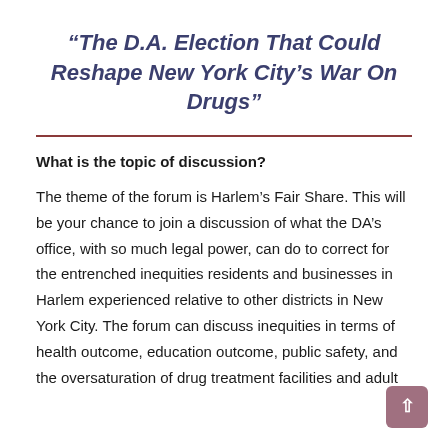“The D.A. Election That Could Reshape New York City’s War On Drugs”
What is the topic of discussion?
The theme of the forum is Harlem’s Fair Share. This will be your chance to join a discussion of what the DA’s office, with so much legal power, can do to correct for the entrenched inequities residents and businesses in Harlem experienced relative to other districts in New York City. The forum can discuss inequities in terms of health outcome, education outcome, public safety, and the oversaturation of drug treatment facilities and adult